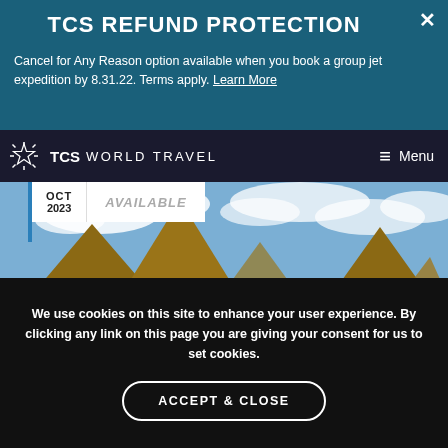TCS REFUND PROTECTION
Cancel for Any Reason option available when you book a group jet expedition by 8.31.22. Terms apply. Learn More
TCS WORLD TRAVEL   Menu
OCT 2023   AVAILABLE
[Figure (photo): Photograph of the Egyptian pyramids at Giza with camels in the foreground on sandy desert ground under a partly cloudy sky.]
We use cookies on this site to enhance your user experience. By clicking any link on this page you are giving your consent for us to set cookies.
ACCEPT & CLOSE